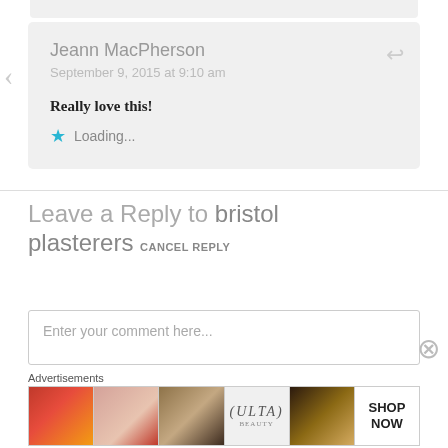Jeann MacPherson
September 9, 2015 at 9:10 am
Really love this!
Loading...
Leave a Reply to bristol plasterers CANCEL REPLY
Enter your comment here...
Advertisements
[Figure (other): Beauty/cosmetics advertisement banner showing makeup images and ULTA logo with SHOP NOW text]